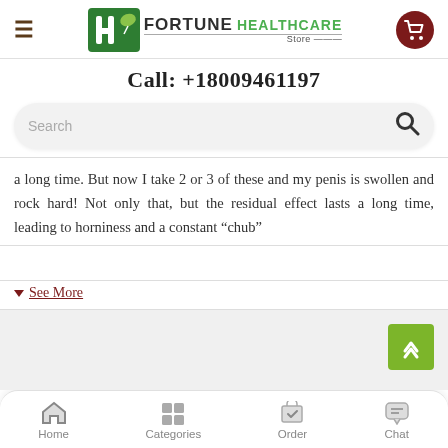[Figure (logo): Fortune Healthcare Store logo with hamburger menu and cart icon in header navigation bar]
Call: +18009461197
[Figure (screenshot): Search bar with placeholder text 'Search' and magnifying glass icon]
a long time. But now I take 2 or 3 of these and my penis is swollen and rock hard! Not only that, but the residual effect lasts a long time, leading to horniness and a constant “chub”
See More
[Figure (screenshot): Back to top button (green arrow) on gray background section]
[Figure (screenshot): Bottom navigation bar with Home, Categories, Order, Chat icons]